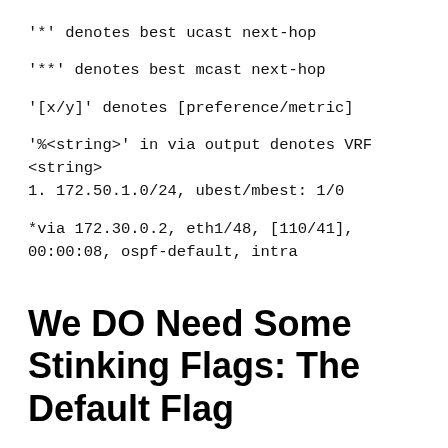'*' denotes best ucast next-hop
'**' denotes best mcast next-hop
'[x/y]' denotes [preference/metric]
'%<string>' in via output denotes VRF <string>
1. 172.50.1.0/24, ubest/mbest: 1/0
*via 172.30.0.2, eth1/48, [110/41],
00:00:08, ospf-default, intra
We DO Need Some Stinking Flags: The Default Flag